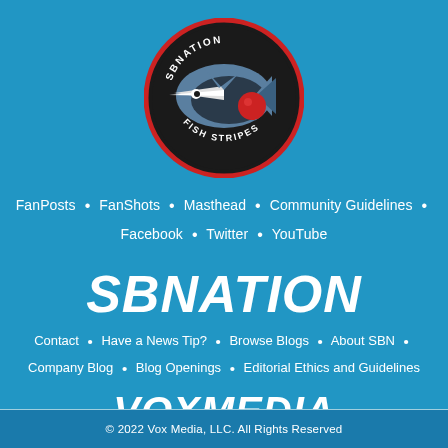[Figure (logo): SB Nation Fish Stripes circular logo with marlin/swordfish graphic on dark background with red circle border]
FanPosts • FanShots • Masthead • Community Guidelines • Facebook • Twitter • YouTube
SBNATION
Contact • Have a News Tip? • Browse Blogs • About SBN • Company Blog • Blog Openings • Editorial Ethics and Guidelines
VOXMEDIA
Terms of Use • Privacy Notice • Cookie Policy • Do Not Sell My Personal Info • Licensing FAQ • Accessibility • Platform Status • Advertise with us • Jobs @ Vox Media
© 2022 Vox Media, LLC. All Rights Reserved